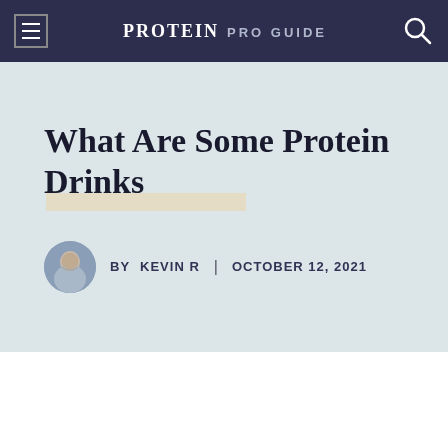PROTEIN PRO GUIDE
What Are Some Protein Drinks
BY KEVIN R | OCTOBER 12, 2021